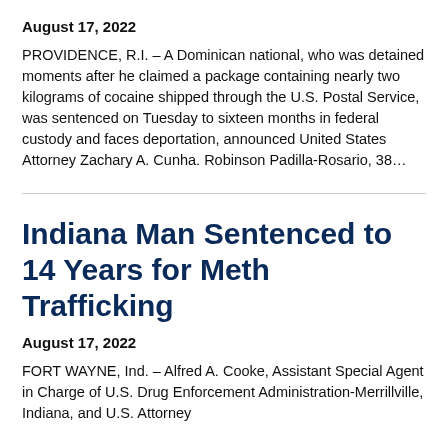August 17, 2022
PROVIDENCE, R.I. – A Dominican national, who was detained moments after he claimed a package containing nearly two kilograms of cocaine shipped through the U.S. Postal Service, was sentenced on Tuesday to sixteen months in federal custody and faces deportation, announced United States Attorney Zachary A. Cunha. Robinson Padilla-Rosario, 38...
Indiana Man Sentenced to 14 Years for Meth Trafficking
August 17, 2022
FORT WAYNE, Ind. – Alfred A. Cooke, Assistant Special Agent in Charge of U.S. Drug Enforcement Administration-Merrillville, Indiana, and U.S. Attorney